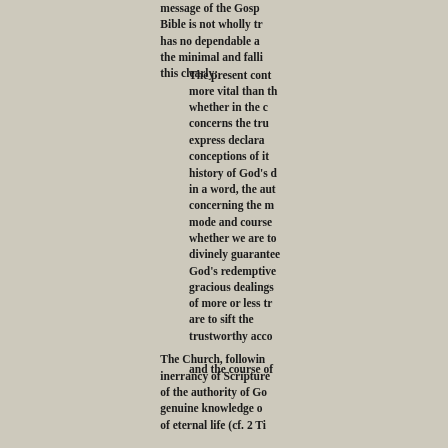message of the Gosp... Bible is not wholly tr... has no dependable a... the minimal and falli... this clearly:
The present cont... more vital than th... whether in the c... concerns the tr... express declara... conceptions of i... history of God's d... in a word, the aut... concerning the m... mode and course ... whether we are to... divinely guarantee... God's redemptive... gracious dealings ... of more or less tr... are to sift the ... trustworthy acco... and the course of
The Church, followin... inerrancy of Scripture... of the authority of Go... genuine knowledge o... of eternal life (cf. 2 Ti...